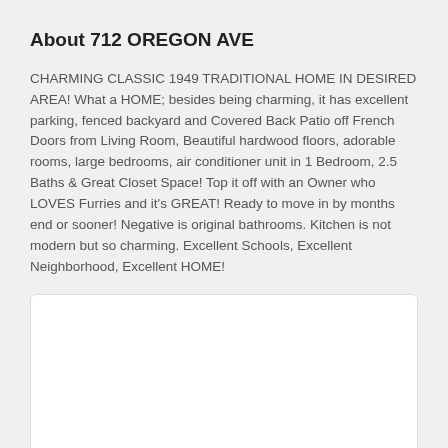About 712 OREGON AVE
CHARMING CLASSIC 1949 TRADITIONAL HOME IN DESIRED AREA! What a HOME; besides being charming, it has excellent parking, fenced backyard and Covered Back Patio off French Doors from Living Room, Beautiful hardwood floors, adorable rooms, large bedrooms, air conditioner unit in 1 Bedroom, 2.5 Baths & Great Closet Space! Top it off with an Owner who LOVES Furries and it's GREAT! Ready to move in by months end or sooner! Negative is original bathrooms. Kitchen is not modern but so charming. Excellent Schools, Excellent Neighborhood, Excellent HOME!
[Figure (map): Map area placeholder (white box with rounded border)]